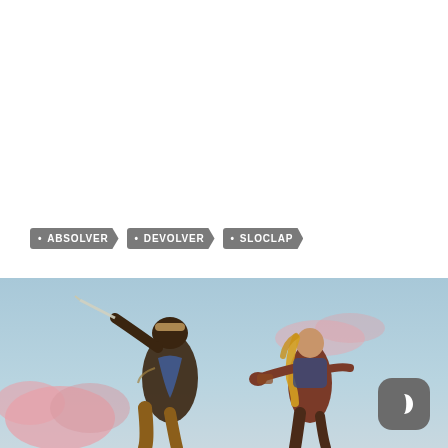• ABSOLVER  • DEVOLVER  • SLOCLAP
[Figure (photo): Two fighters in combat under a blue sky with pink clouds. Left figure appears to be swinging a blade, right figure is a woman with blonde hair in combat stance. A dark mode button (crescent moon icon) is visible in the bottom-right corner.]